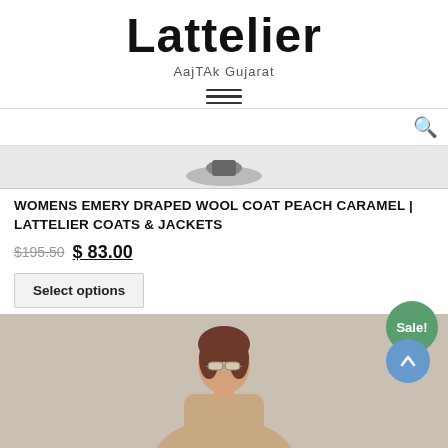Lattelier
AajTAk Gujarat
[Figure (logo): Hamburger menu icon with three horizontal lines]
[Figure (screenshot): Top portion of product image showing partial dark item on light grey background with search icon at top right]
WOMENS EMERY DRAPED WOOL COAT PEACH CARAMEL | LATTELIER COATS & JACKETS
$195.50 $83.00
Select options
[Figure (photo): Woman with brown hair wearing sunglasses, shown from shoulders up against a beige/taupe background, with a Sale! badge in top right corner and a blue scroll-to-top button]